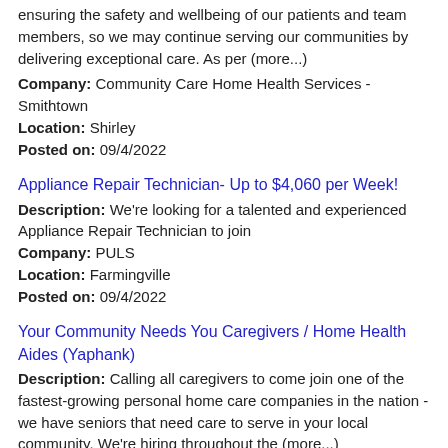ensuring the safety and wellbeing of our patients and team members, so we may continue serving our communities by delivering exceptional care. As per (more...)
Company: Community Care Home Health Services - Smithtown
Location: Shirley
Posted on: 09/4/2022
Appliance Repair Technician- Up to $4,060 per Week!
Description: We're looking for a talented and experienced Appliance Repair Technician to join
Company: PULS
Location: Farmingville
Posted on: 09/4/2022
Your Community Needs You Caregivers / Home Health Aides (Yaphank)
Description: Calling all caregivers to come join one of the fastest-growing personal home care companies in the nation - we have seniors that need care to serve in your local community. We're hiring throughout the (more...)
Company: Addus
Location: Yaphank
Posted on: 09/4/2022